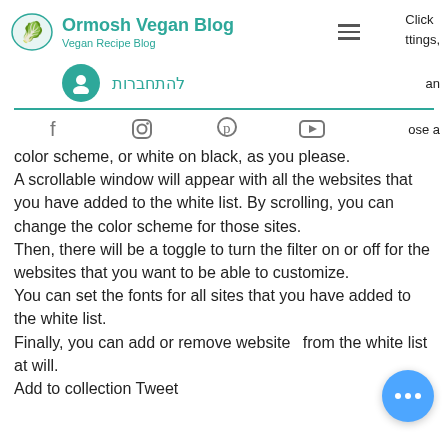Ormosh Vegan Blog — Vegan Recipe Blog
להתחברות
color scheme, or white on black, as you please.
A scrollable window will appear with all the websites that you have added to the white list. By scrolling, you can change the color scheme for those sites.
Then, there will be a toggle to turn the filter on or off for the websites that you want to be able to customize.
You can set the fonts for all sites that you have added to the white list.
Finally, you can add or remove websites from the white list at will.
Add to collection Tweet